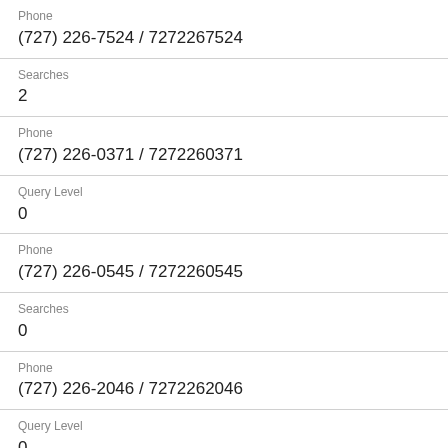Phone
(727) 226-7524 / 7272267524
Searches
2
Phone
(727) 226-0371 / 7272260371
Query Level
0
Phone
(727) 226-0545 / 7272260545
Searches
0
Phone
(727) 226-2046 / 7272262046
Query Level
0
Phone
(727) 226-2050 / 7272262050